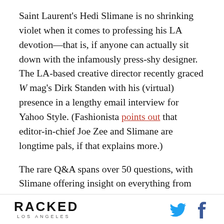Saint Laurent's Hedi Slimane is no shrinking violet when it comes to professing his LA devotion—that is, if anyone can actually sit down with the infamously press-shy designer. The LA-based creative director recently graced W mag's Dirk Standen with his (virtual) presence in a lengthy email interview for Yahoo Style. (Fashionista points out that editor-in-chief Joe Zee and Slimane are longtime pals, if that explains more.)

The rare Q&A spans over 50 questions, with Slimane offering insight on everything from YSL's couture relaunch,
RACKED LOS ANGELES